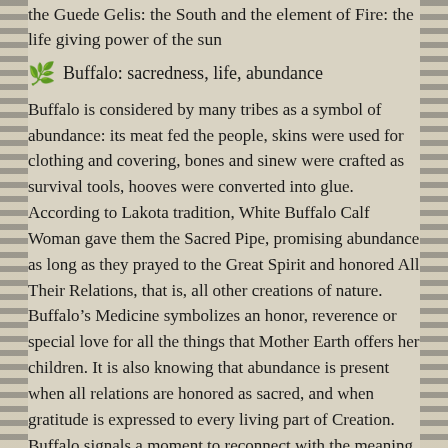the Guede Gelis: the South and the element of Fire: the life giving power of the sun
Buffalo: sacredness, life, abundance
Buffalo is considered by many tribes as a symbol of abundance: its meat fed the people, skins were used for clothing and covering, bones and sinew were crafted as survival tools, hooves were converted into glue. According to Lakota tradition, White Buffalo Calf Woman gave them the Sacred Pipe, promising abundance as long as they prayed to the Great Spirit and honored All Their Relations, that is, all other creations of nature.  Buffalo’s Medicine symbolizes an honor, reverence or special love for all the things that Mother Earth offers her children. It is also knowing that abundance is present when all relations are honored as sacred, and when gratitude is expressed to every living part of Creation.  Buffalo signals a moment to reconnect with the meaning of life and the value of peace,